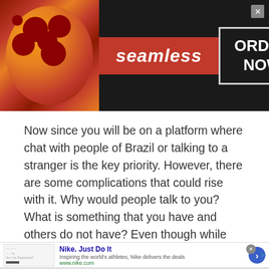[Figure (screenshot): Seamless food delivery advertisement banner with pizza image on left, 'seamless' red logo in center, and 'ORDER NOW' button on right, on dark background]
Now since you will be on a platform where chat with people of Brazil or talking to a stranger is the key priority. However, there are some complications that could rise with it. Why would people talk to you? What is something that you have and others do not have? Even though while talking online you could have a different objective. Maybe you want to have a girlfriend or a boyfriend for yourself, or maybe you just want to grow your social network. However, for
[Figure (screenshot): Nike advertisement: 'Nike. Just Do It' - Inspiring the world's athletes, Nike delivers the deals - www.nike.com, with blue arrow button]